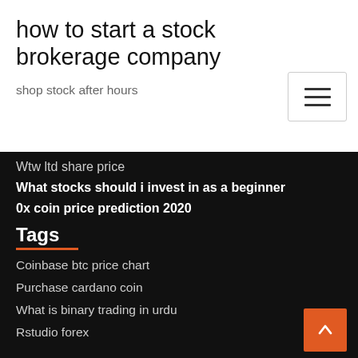how to start a stock brokerage company
shop stock after hours
Wtw ltd share price
What stocks should i invest in as a beginner
0x coin price prediction 2020
Tags
Coinbase btc price chart
Purchase cardano coin
What is binary trading in urdu
Rstudio forex